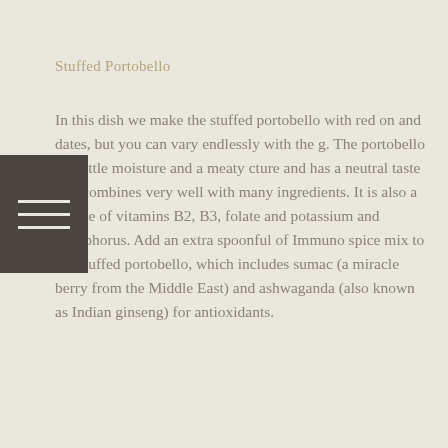Stuffed Portobello
In this dish we make the stuffed portobello with red on and dates, but you can vary endlessly with the g. The portobello has little moisture and a meaty cture and has a neutral taste that combines very well with many ingredients. It is also a source of vitamins B2, B3, folate and potassium and phosphorus. Add an extra spoonful of Immuno spice mix to the stuffed portobello, which includes sumac (a miracle berry from the Middle East) and ashwaganda (also known as Indian ginseng) for antioxidants.